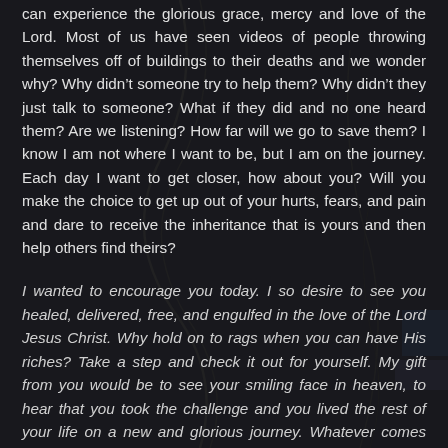can experience the glorious grace, mercy and love of the Lord. Most of us have seen videos of people throwing themselves off of buildings to their deaths and we wonder why? Why didn't someone try to help them? Why didn't they just talk to someone? What if they did and no one heard them? Are we listening? How far will we go to save them? I know I am not where I want to be, but I am on the journey. Each day I want to get closer, how about you? Will you make the choice to get up out of your hurts, fears, and pain and dare to receive the inheritance that is yours and then help others find theirs?
I wanted to encourage you today. I so desire to see you healed, delivered, free, and engulfed in the love of the Lord Jesus Christ. Why hold on to rags when you can have His riches? Take a step and check it out for yourself. My gift from you would be to see your smiling face in heaven, to hear that you took the challenge and you lived the rest of your life on a new and glorious journey. Whatever comes against you, respond with His love. If I don't get to meet